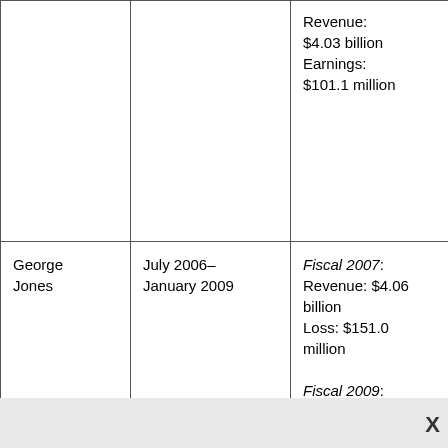| Name | Term | Notable financials |
| --- | --- | --- |
|  |  | Revenue: $4.03 billion
Earnings: $101.1 million |
| George Jones | July 2006–January 2009 | Fiscal 2007: Revenue: $4.06 billion
Loss: $151.0 million

Fiscal 2009: Revenue: $3.2 billion
Loss:$187.0 million |
| Ron Marshall | January 2009–January 2010 | Fiscal 2010: Revenue: $2.8 billion |